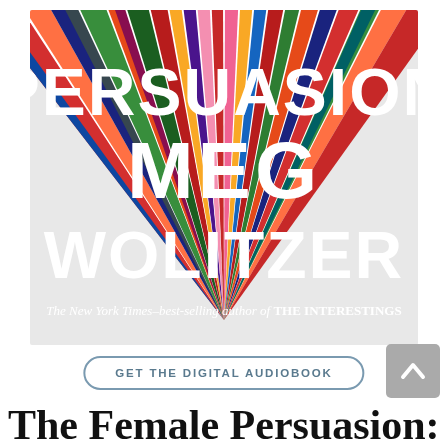[Figure (illustration): Book cover of 'The Female Persuasion' by Meg Wolitzer. Colorful diagonal stripes in red, orange, green, dark blue, pink, and other colors converge at a central vanishing point. Bold white text reads 'PERSUASION MEG WOLITZER'. Subtitle reads 'The New York Times-best-selling author of THE INTERESTINGS'.]
GET THE DIGITAL AUDIOBOOK
The Female Persuasion: A